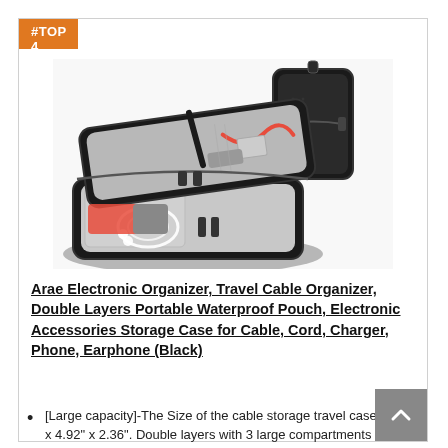#TOP 4
[Figure (photo): Black electronic organizer travel cable storage case shown open with compartments containing earphones, cables, and a power bank, alongside a closed view of the same case.]
Arae Electronic Organizer, Travel Cable Organizer, Double Layers Portable Waterproof Pouch, Electronic Accessories Storage Case for Cable, Cord, Charger, Phone, Earphone (Black)
[Large capacity]-The Size of the cable storage travel case: 8.27" x 4.92" x 2.36". Double layers with 3 large compartments inside 1 large interior